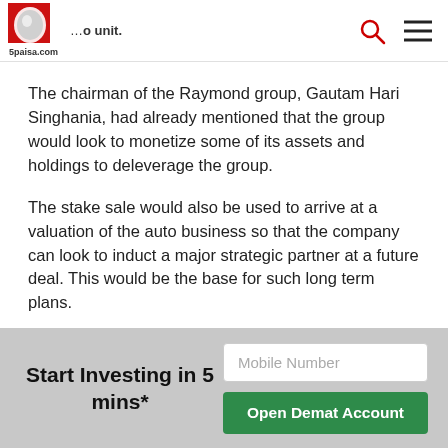5paisa.com — navigation header with logo, search and menu icons
…o unit.
The chairman of the Raymond group, Gautam Hari Singhania, had already mentioned that the group would look to monetize some of its assets and holdings to deleverage the group.
The stake sale would also be used to arrive at a valuation of the auto business so that the company can look to induct a major strategic partner at a future deal. This would be the base for such long term plans.
While the Board of Raymond has already approved this sale of stake, other regulatory approvals and the approval of shareholders is still pending. Raymond stock has rallied sharply in the last few
Start Investing in 5 mins*
Mobile Number
Open Demat Account